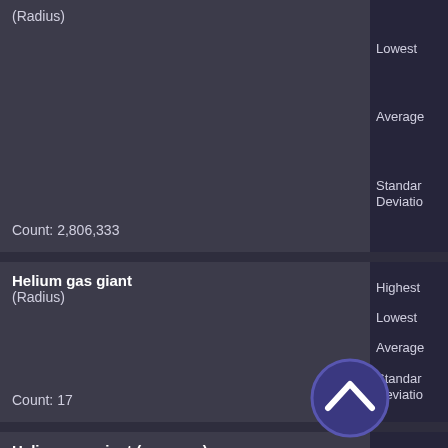| Category | Stats |
| --- | --- |
| (Radius)
Count: 2,806,333 | Lowest
Average
Standard Deviation |
| Helium gas giant (Radius)
Count: 17 | Highest
Lowest
Average
Standard Deviation |
| Helium gas giant (as moon) (Radius)
Count: 4 | Highest
Lowest
Average
Standard Deviation |
[Figure (other): Scroll-to-top circular button with upward chevron arrow icon, dark navy blue color]